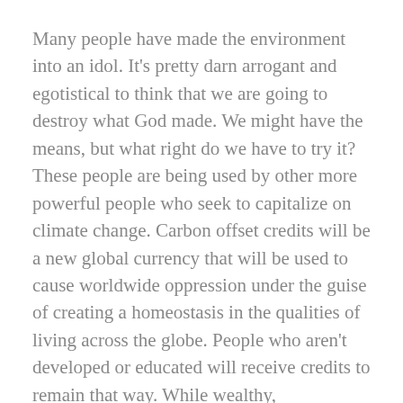Many people have made the environment into an idol. It's pretty darn arrogant and egotistical to think that we are going to destroy what God made. We might have the means, but what right do we have to try it? These people are being used by other more powerful people who seek to capitalize on climate change. Carbon offset credits will be a new global currency that will be used to cause worldwide oppression under the guise of creating a homeostasis in the qualities of living across the globe. People who aren't developed or educated will receive credits to remain that way. While wealthy, industrialized nations will pay the guilt away.
They will use the useful idiots as Lenin called them, to sway the secular minded masses into voting for oppression. They will vote our rights away. The enemy will win without firing a shot. This is all because of Biblical